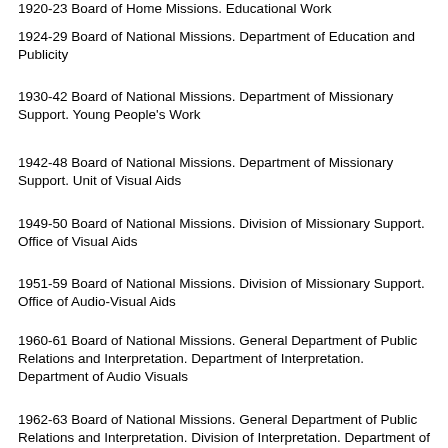1920-23 Board of Home Missions. Educational Work
1924-29 Board of National Missions. Department of Education and Publicity
1930-42 Board of National Missions. Department of Missionary Support. Young People's Work
1942-48 Board of National Missions. Department of Missionary Support. Unit of Visual Aids
1949-50 Board of National Missions. Division of Missionary Support. Office of Visual Aids
1951-59 Board of National Missions. Division of Missionary Support. Office of Audio-Visual Aids
1960-61 Board of National Missions. General Department of Public Relations and Interpretation. Department of Interpretation. Department of Audio Visuals
1962-63 Board of National Missions. General Department of Public Relations and Interpretation. Division of Interpretation. Department of Audio Visuals
1964 Board of National Missions. General Department of